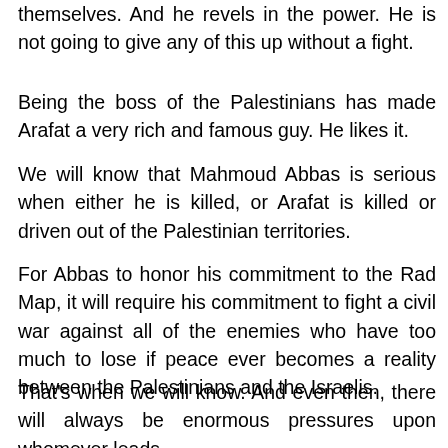themselves. And he revels in the power. He is not going to give any of this up without a fight.
Being the boss of the Palestinians has made Arafat a very rich and famous guy. He likes it.
We will know that Mahmoud Abbas is serious when either he is killed, or Arafat is killed or driven out of the Palestinian territories.
For Abbas to honor his commitment to the Rad Map, it will require his commitment to fight a civil war against all of the enemies who have too much to lose if peace ever becomes a reality between the Palestinians and the Israelis.
That's when we will know. And even then, there will always be enormous pressures upon whomever leads the Palestinian people. There will always be those